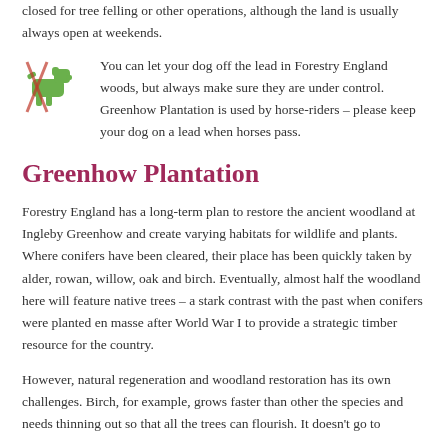closed for tree felling or other operations, although the land is usually always open at weekends.
You can let your dog off the lead in Forestry England woods, but always make sure they are under control. Greenhow Plantation is used by horse-riders – please keep your dog on a lead when horses pass.
Greenhow Plantation
Forestry England has a long-term plan to restore the ancient woodland at Ingleby Greenhow and create varying habitats for wildlife and plants. Where conifers have been cleared, their place has been quickly taken by alder, rowan, willow, oak and birch. Eventually, almost half the woodland here will feature native trees – a stark contrast with the past when conifers were planted en masse after World War I to provide a strategic timber resource for the country.
However, natural regeneration and woodland restoration has its own challenges. Birch, for example, grows faster than other the species and needs thinning out so that all the trees can flourish. It doesn't go to